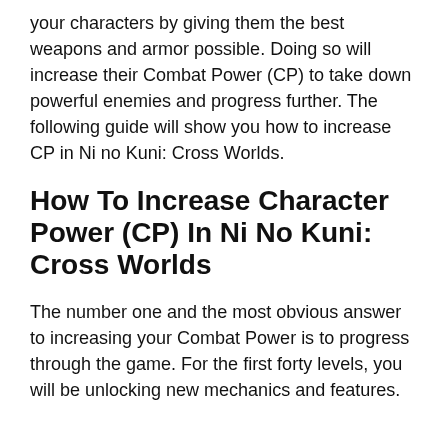your characters by giving them the best weapons and armor possible. Doing so will increase their Combat Power (CP) to take down powerful enemies and progress further. The following guide will show you how to increase CP in Ni no Kuni: Cross Worlds.
How To Increase Character Power (CP) In Ni No Kuni: Cross Worlds
The number one and the most obvious answer to increasing your Combat Power is to progress through the game. For the first forty levels, you will be unlocking new mechanics and features.